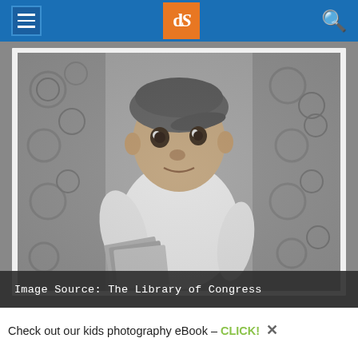dPS navigation header with hamburger menu, logo (dS), and search icon
[Figure (photo): Black and white historical photograph of a young boy wearing a flat cap and white long-sleeve shirt, holding newspapers or books, standing in front of an ornate iron fence. Image from The Library of Congress.]
Image Source: The Library of Congress
Check out our kids photography eBook – CLICK! ×